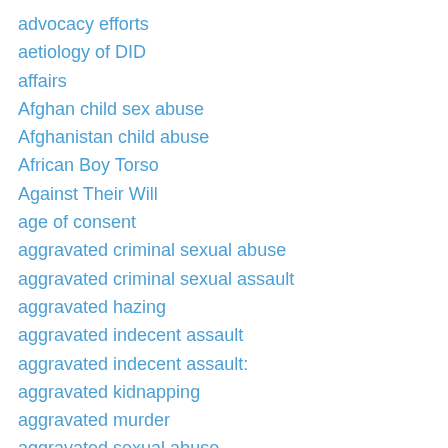advocacy efforts
aetiology of DID
affairs
Afghan child sex abuse
Afghanistan child abuse
African Boy Torso
Against Their Will
age of consent
aggravated criminal sexual abuse
aggravated criminal sexual assault
aggravated hazing
aggravated indecent assault
aggravated indecent assault:
aggravated kidnapping
aggravated murder
aggravated sexual abuse
aggravated sexual assault
Aggression
Aggressive Christianity Missions Training Corps
Aggressive Christianity Missions Training Corps'